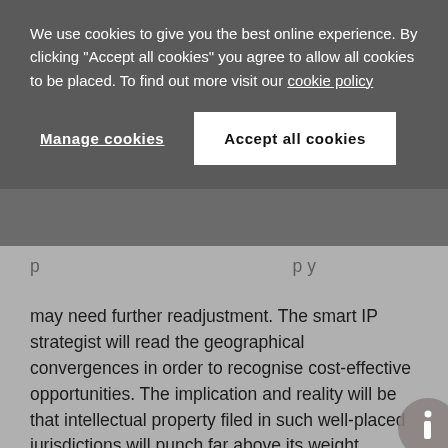We use cookies to give you the best online experience. By clicking "Accept all cookies" you agree to allow all cookies to be placed. To find out more visit our cookie policy
Manage cookies | Accept all cookies
may need further readjustment. The smart IP strategist will read the geographical convergences in order to recognise cost-effective opportunities. The implication and reality will be that intellectual property filed in such well-placed jurisdictions will punch far above its weight.
Michael Lin is a fellow in the International IP Strategists Association and a partner at Marks & Clerk Hong Kong.